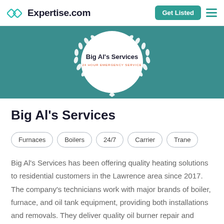Expertise.com
[Figure (logo): Big Al's Services circular badge with laurel wreath on teal background banner]
Big Al's Services
Furnaces
Boilers
24/7
Carrier
Trane
Big Al's Services has been offering quality heating solutions to residential customers in the Lawrence area since 2017. The company's technicians work with major brands of boiler, furnace, and oil tank equipment, providing both installations and removals. They deliver quality oil burner repair and servicing and perform